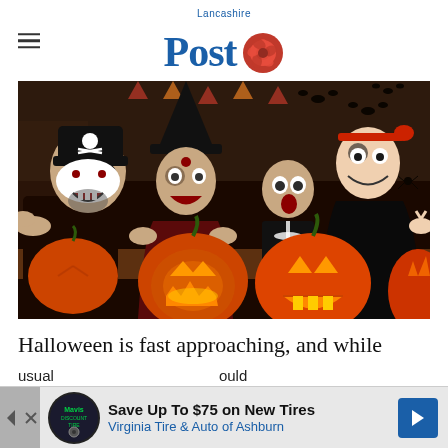Lancashire Post
[Figure (photo): A family of four dressed in Halloween costumes — father as a pirate with skull face paint, a young girl as a witch with a large black hat, a young boy in a skeleton outfit, and mother in black with spider web face paint — posing excitedly around several carved and uncarved Jack-o-lantern pumpkins in a Halloween-decorated room.]
Halloween is fast approaching, and while usually... ...ould be pr...
[Figure (other): Advertisement banner: Save Up To $75 on New Tires - Virginia Tire & Auto of Ashburn, with a Mavis Discount Tire logo icon on the left and a blue directional arrow on the right.]